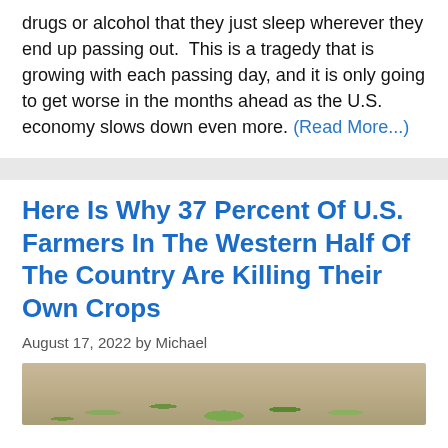drugs or alcohol that they just sleep wherever they end up passing out.  This is a tragedy that is growing with each passing day, and it is only going to get worse in the months ahead as the U.S. economy slows down even more. (Read More...)
Here Is Why 37 Percent Of U.S. Farmers In The Western Half Of The Country Are Killing Their Own Crops
August 17, 2022 by Michael
[Figure (photo): Close-up photo of small green crop seedlings emerging from dry, cracked soil]